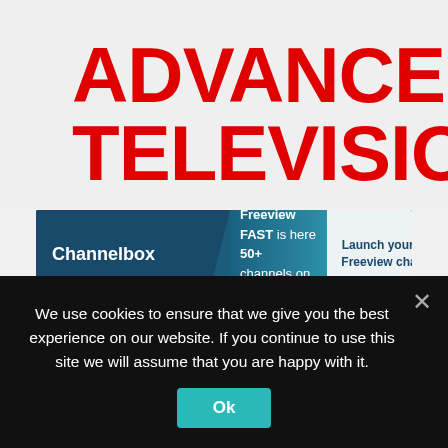ADVANCED TELEVISION
[Figure (screenshot): Channelbox banner advertisement: dark teal background with Channelbox logo on left, 'Freeview FAST is here 50+ channels on Freeview271' in center, 'Launch your own Freeview channel' on white panel on right]
[Figure (screenshot): Red rounded square hamburger/menu button icon with three white horizontal lines]
We use cookies to ensure that we give you the best experience on our website. If you continue to use this site we will assume that you are happy with it.